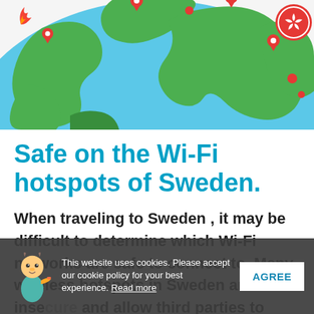[Figure (illustration): Illustrated globe with green landmasses, blue ocean, and red map pin location markers. A red and white Hong Kong emblem badge is in the top-right corner.]
Safe on the Wi-Fi hotspots of Sweden.
When traveling to Sweden , it may be difficult to determine which Wi-Fi networks are safe to connect to. Many wireless hotspots in Sweden are insecure and allow third parties to easily access your personal information
This website uses cookies. Please accept our cookie policy for your best experience. Read more